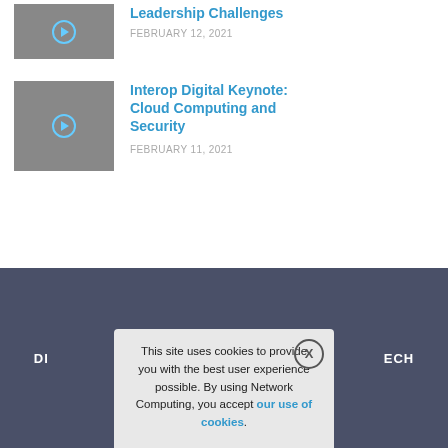[Figure (screenshot): Video thumbnail placeholder (gray box with play button icon) for article 1]
Leadership Challenges
FEBRUARY 12, 2021
[Figure (screenshot): Video thumbnail placeholder (gray box with play button icon) for Interop Digital Keynote article]
Interop Digital Keynote: Cloud Computing and Security
FEBRUARY 11, 2021
DI... ECH
This site uses cookies to provide you with the best user experience possible. By using Network Computing, you accept our use of cookies.